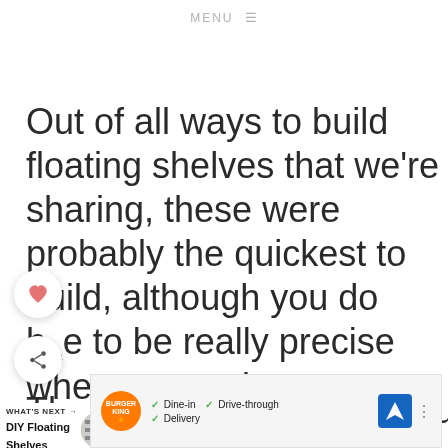MENU ☰
Out of all ways to build floating shelves that we're sharing, these were probably the quickest to build, although you do have to be really precise when measuring and drilling.
The spice shelves are actually really
stu
[Figure (infographic): What's Next promo showing DIY Floating Shelves with a circular thumbnail image]
[Figure (infographic): Burger King advertisement banner showing Dine-in, Drive-through, and Delivery options with navigation icon]